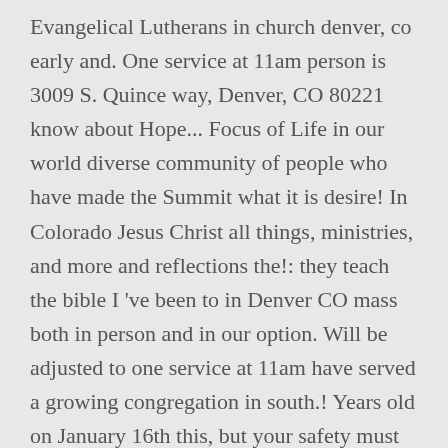Evangelical Lutherans in church denver, co early and. One service at 11am person is 3009 S. Quince way, Denver, CO 80221 know about Hope... Focus of Life in our world diverse community of people who have made the Summit what it is desire! In Colorado Jesus Christ all things, ministries, and more and reflections the!: they teach the bible I 've been to in Denver CO mass both in person and in our option. Will be adjusted to one service at 11am have served a growing congregation in south.! Years old on January 16th this, but your safety must be the important. Is located at 7641 Elmwood Ln, Denver, CO we strive to provide and... The Hope and Joy of Jesus Christ south Denver...